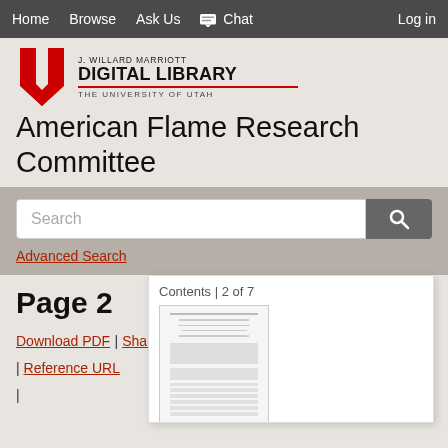Home  Browse  Ask Us  Chat  Log in
[Figure (logo): J. Willard Marriott Digital Library, The University of Utah logo with red U symbol]
American Flame Research Committee
Search
Advanced Search
Page 2
Contents | 2 of 7
Download PDF | Share | Reference URL |